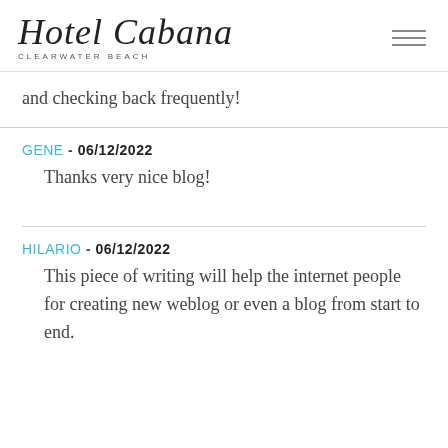Hotel Cabana CLEARWATER BEACH
and checking back frequently!
GENE - 06/12/2022
Thanks very nice blog!
HILARIO - 06/12/2022
This piece of writing will help the internet people for creating new weblog or even a blog from start to end.